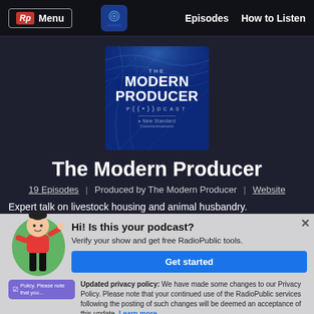Rp Menu | Episodes | How to Listen
[Figure (illustration): The Modern Producer Podcast cover art — dark blue background with abstract wave patterns, white text reading THE MODERN PRODUCER PODCAST with a wifi/radio icon and New Standard branding]
The Modern Producer
19 Episodes  |  Produced by The Modern Producer  |  Website
Expert talk on livestock housing and animal husbandry.
Hi! Is this your podcast?
Verify your show and get free RadioPublic tools.
Get started
Updated privacy policy: We have made some changes to our Privacy Policy. Please note that your continued use of the RadioPublic services following the posting of such changes will be deemed an acceptance of this update. Learn more